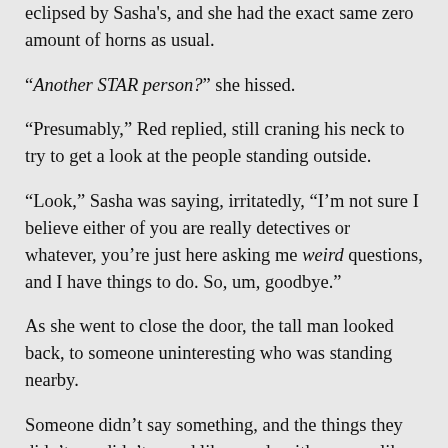eclipsed by Sasha's, and she had the exact same zero amount of horns as usual.
“Another STAR person?” she hissed.
“Presumably,” Red replied, still craning his neck to try to get a look at the people standing outside.
“Look,” Sasha was saying, irritatedly, “I’m not sure I believe either of you are really detectives or whatever, you’re just here asking me weird questions, and I have things to do. So, um, goodbye.”
As she went to close the door, the tall man looked back, to someone uninteresting who was standing nearby.
Someone didn’t say something, and the things they didn’t say didn’t sound like words, either, more like sharp shapes made of air and sound and absence. Alice felt it wash over her like a